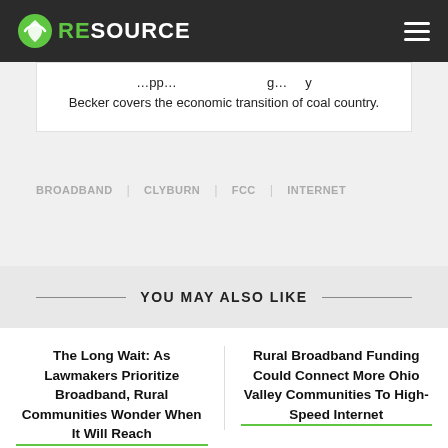RESOURCE
Becker covers the economic transition of coal country.
BROADBAND
CLYBURN
FCC
INTERNET
YOU MAY ALSO LIKE
The Long Wait: As Lawmakers Prioritize Broadband, Rural Communities Wonder When It Will Reach
Rural Broadband Funding Could Connect More Ohio Valley Communities To High-Speed Internet